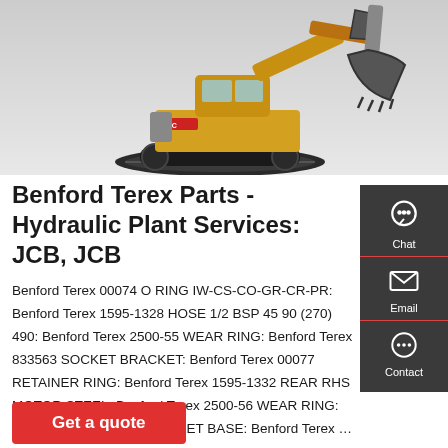[Figure (photo): Two construction excavators/diggers on a white/grey gradient background. Left: a yellow tracked excavator (appears to be a HEC brand machine). Right: a grey/black excavator bucket attachment.]
Benford Terex Parts - Hydraulic Plant Services: JCB, JCB
Benford Terex 00074 O RING IW-CS-CO-GR-CR-PR: Benford Terex 1595-1328 HOSE 1/2 BSP 45 90 (270) 490: Benford Terex 2500-55 WEAR RING: Benford Terex 833563 SOCKET BRACKET: Benford Terex 00077 RETAINER RING: Benford Terex 1595-1332 REAR RHS MOTOR STEEL: Benford Terex 2500-56 WEAR RING: Benford Terex 833564 SOCKET BASE: Benford Terex …
[Figure (other): Side panel with Chat, Email, Contact icons on dark grey background]
Get a quote